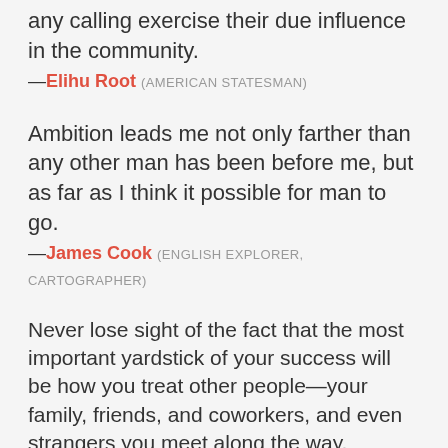any calling exercise their due influence in the community.
—Elihu Root (AMERICAN STATESMAN)
Ambition leads me not only farther than any other man has been before me, but as far as I think it possible for man to go.
—James Cook (ENGLISH EXPLORER, CARTOGRAPHER)
Never lose sight of the fact that the most important yardstick of your success will be how you treat other people—your family, friends, and coworkers, and even strangers you meet along the way.